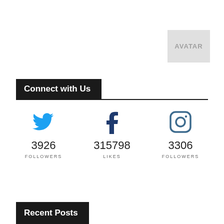[Figure (other): Placeholder avatar/logo image, light gray box with text]
Connect with Us
[Figure (infographic): Three social media icons (Twitter, Facebook, Instagram) with follower/like counts: Twitter 3926 FOLLOWERS, Facebook 315798 LIKES, Instagram 3306 FOLLOWERS]
Recent Posts